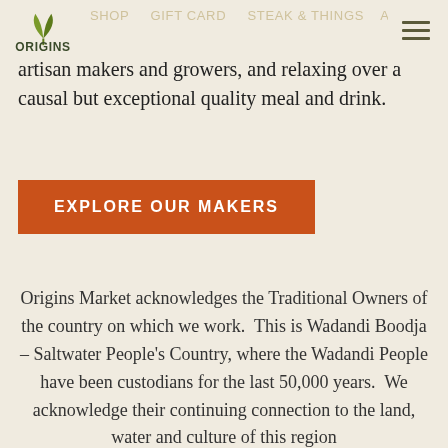Origins Market — navigation header with logo and hamburger menu
artisan makers and growers, and relaxing over a causal but exceptional quality meal and drink.
EXPLORE OUR MAKERS
Origins Market acknowledges the Traditional Owners of the country on which we work.  This is Wadandi Boodja – Saltwater People's Country, where the Wadandi People have been custodians for the last 50,000 years.  We acknowledge their continuing connection to the land, water and culture of this region